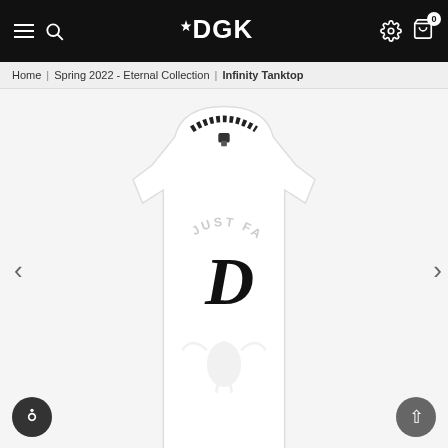DGK — navigation header with hamburger menu, search, settings, and cart (0 items)
Home | Spring 2022 - Eternal Collection | Infinity Tanktop
[Figure (photo): White DGK Infinity Tanktop displayed on a neutral background. The tank top features a black decorative neckline trim, a bold black old-English 'D' logo on the chest, and subtle light-grey 'JUST FATE' text arching above the logo. A faint graphic is visible on the lower body of the tank.]